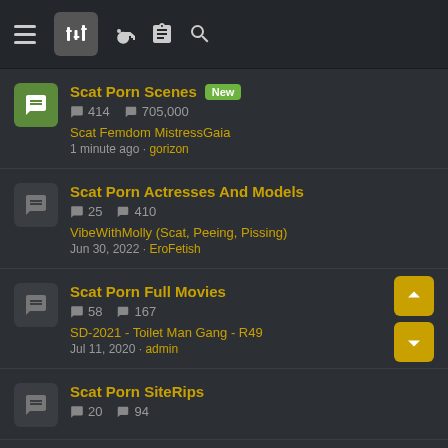Forum listing with navigation icons
Scat Porn Scenes [New] — 414 threads, 705,000 posts — Scat Femdom MistressGaia — 1 minute ago · gorizon
Scat Porn Actresses And Models — 25 threads, 410 posts — VibeWithMolly (Scat, Peeing, Pissing) — Jun 30, 2022 · EroFetish
Scat Porn Full Movies — 58 threads, 167 posts — SD-2021 - Toilet Man Gang - R49 — Jul 11, 2020 · admin
Scat Porn SiteRips — 20 threads, 94 posts